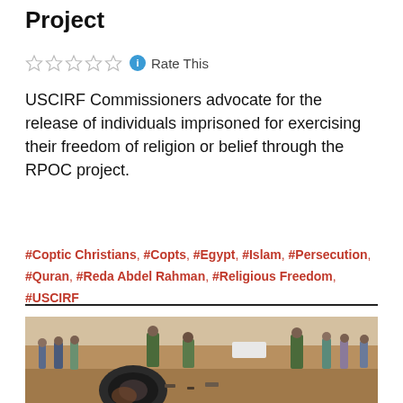Project
Rate This
USCIRF Commissioners advocate for the release of individuals imprisoned for exercising their freedom of religion or belief through the RPOC project.
#Coptic Christians, #Copts, #Egypt, #Islam, #Persecution, #Quran, #Reda Abdel Rahman, #Religious Freedom, #USCIRF
[Figure (photo): Outdoor scene showing people standing in a dry, arid landscape. Military/uniformed personnel in camouflage are visible among civilians, with a large tire in the foreground and a white vehicle in the background.]